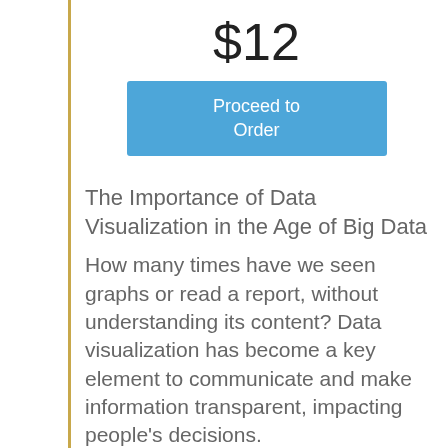$12
[Figure (other): Blue 'Proceed to Order' button]
The Importance of Data Visualization in the Age of Big Data
How many times have we seen graphs or read a report, without understanding its content? Data visualization has become a key element to communicate and make information transparent, impacting people's decisions.
In any decisive process, visualizing the